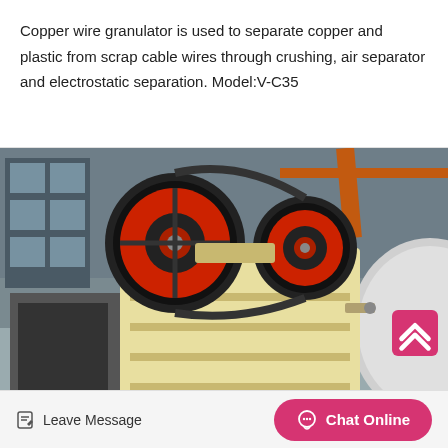Copper wire granulator is used to separate copper and plastic from scrap cable wires through crushing, air separator and electrostatic separation. Model:V-C35
[Figure (photo): Industrial copper wire granulator machine in a factory setting. The machine is painted cream/beige and yellow with large red-rimmed black flywheels. Multiple machines visible in an industrial hall with concrete floor.]
Leave Message  |  Chat Online